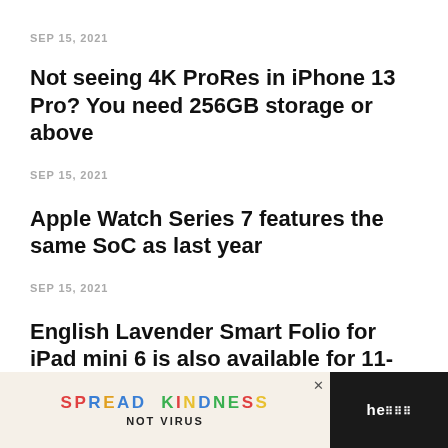SEP 15, 2021
Not seeing 4K ProRes in iPhone 13 Pro? You need 256GB storage or above
SEP 15, 2021
Apple Watch Series 7 features the same SoC as last year
SEP 15, 2021
English Lavender Smart Folio for iPad mini 6 is also available for 11-inch and 12.9-inch iPad Pro models
SEP 15, 2021
[Figure (other): Advertisement banner: SPREAD KINDNESS NOT VIRUS on light beige background with dark sidebar showing partial text]